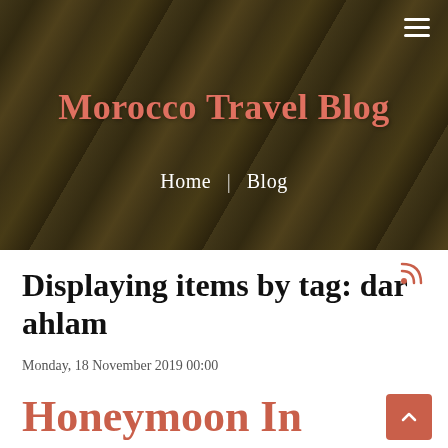[Figure (photo): Hero background image showing a person in a field or countryside landscape, dark-toned, warm earthy colors. Morocco travel blog header image.]
Morocco Travel Blog
Home | Blog
Displaying items by tag: dar ahlam
Monday, 18 November 2019 00:00
Honeymoon In